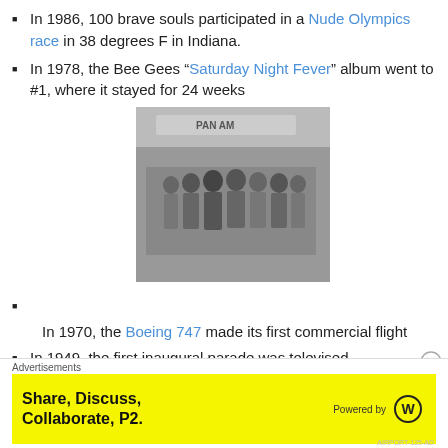In 1986, 100 brave souls participated in a Nude Olympics race in 38 degrees F in Indiana.
In 1978, the Bee Gees “Saturday Night Fever” album went to #1, where it stayed for 24 weeks
[Figure (photo): Black and white photograph of a group of people standing in front of a Pan Am airplane]
In 1970, the Boeing 747 made its first commercial flight
In 1949, the first inaugural parade was televised
In 1908, New York City made it illegal for a woman to smoke in public
Advertisements
Share, Discuss, Collaborate, P2. Powered by WordPress